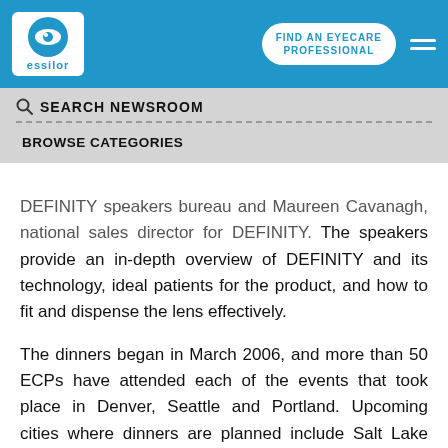essilor — FIND AN EYECARE PROFESSIONAL
SEARCH NEWSROOM
BROWSE CATEGORIES
DEFINITY speakers bureau and Maureen Cavanagh, national sales director for DEFINITY. The speakers provide an in-depth overview of DEFINITY and its technology, ideal patients for the product, and how to fit and dispense the lens effectively.
The dinners began in March 2006, and more than 50 ECPs have attended each of the events that took place in Denver, Seattle and Portland. Upcoming cities where dinners are planned include Salt Lake City...